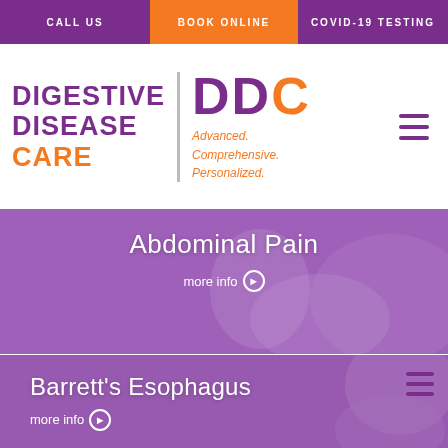CALL US | BOOK ONLINE | COVID-19 TESTING
[Figure (logo): Digestive Disease Care DDC logo with tagline Advanced. Comprehensive. Personalized.]
[Figure (photo): Abdominal Pain medical card with purple overlay showing person holding abdomen, with 'more info' button]
[Figure (photo): Barrett's Esophagus medical card with purple overlay showing person with throat discomfort, with 'more info' button]